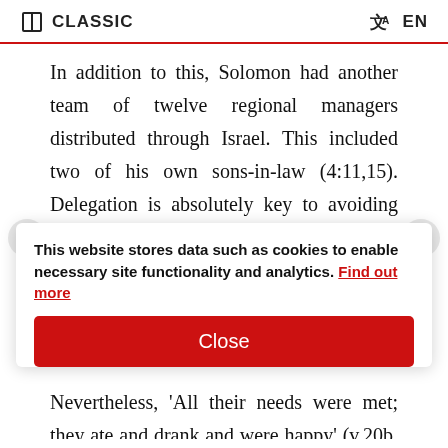CLASSIC | EN
In addition to this, Solomon had another team of twelve regional managers distributed through Israel. This included two of his own sons-in-law (4:11,15). Delegation is absolutely key to avoiding burnout and carrying out a leadership role.
This website stores data such as cookies to enable necessary site functionality and analytics. Find out more
Under his leadership there was so densely populated (v.20a, MSG).
Nevertheless, 'All their needs were met; they ate and drank and were happy' (v.20b, MSG) and they 'had